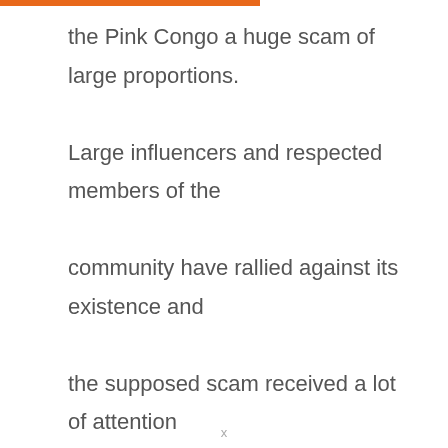the Pink Congo a huge scam of large proportions. Large influencers and respected members of the community have rallied against its existence and the supposed scam received a lot of attention from national and international media. So, is the plant a complete scam?
x